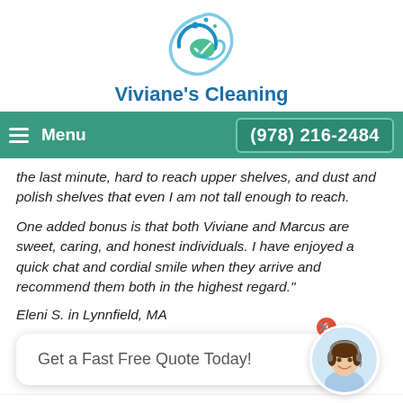[Figure (logo): Viviane's Cleaning logo — circular swirl with water droplets and leaf motif in blue/teal]
Viviane's Cleaning
Menu   (978) 216-2484
the last minute, hard to reach upper shelves, and dust and polish shelves that even I am not tall enough to reach.
One added bonus is that both Viviane and Marcus are sweet, caring, and honest individuals. I have enjoyed a quick chat and cordial smile when they arrive and recommend them both in the highest regard."
Eleni S. in Lynnfield, MA
Get a Fast Free Quote Today!
★ ★ ★ ★ ★ - "Viviane's Cleaning Service is the best!